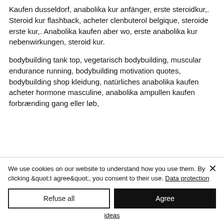Kaufen dusseldorf, anabolika kur anfänger, erste steroidkur,. Steroid kur flashback, acheter clenbuterol belgique, steroide erste kur,. Anabolika kaufen aber wo, erste anabolika kur nebenwirkungen, steroid kur.
bodybuilding tank top, vegetarisch bodybuilding, muscular endurance running, bodybuilding motivation quotes, bodybuilding shop kleidung, natürliches anabolika kaufen acheter hormone masculine, anabolika ampullen kaufen forbrænding gang eller løb,
We use cookies on our website to understand how you use them. By clicking &quot;I agree&quot;, you consent to their use. Data protection
Refuse all
Agree
ideas